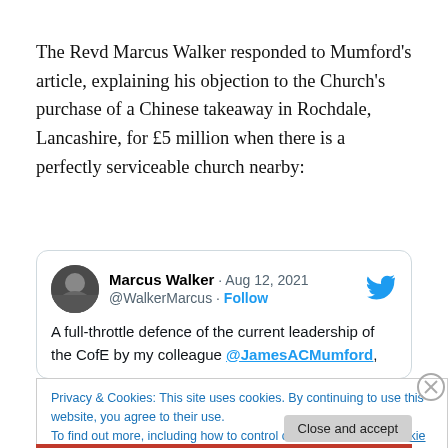The Revd Marcus Walker responded to Mumford's article, explaining his objection to the Church's purchase of a Chinese takeaway in Rochdale, Lancashire, for £5 million when there is a perfectly serviceable church nearby:
[Figure (screenshot): Embedded tweet from @WalkerMarcus dated Aug 12, 2021. Name: Marcus Walker. Text begins: 'A full-throttle defence of the current leadership of the CofE by my colleague @JamesACMumford,']
Privacy & Cookies: This site uses cookies. By continuing to use this website, you agree to their use. To find out more, including how to control cookies, see here: Cookie Policy